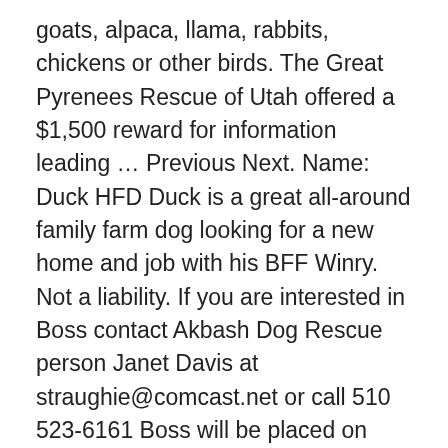goats, alpaca, llama, rabbits, chickens or other birds. The Great Pyrenees Rescue of Utah offered a $1,500 reward for information leading … Previous Next. Name: Duck HFD Duck is a great all-around family farm dog looking for a new home and job with his BFF Winry. Not a liability. If you are interested in Boss contact Akbash Dog Rescue person Janet Davis at straughie@comcast.net or call 510 523-6161 Boss will be placed on acreage in a quiet rural setting only. Northwest Guardians is based in Western Montana. DONATE, All Rights Reserved. We will want to know what type of livestock you have, how large an area and what type of terrain the dog will be expected to patrol, type of fencing, neighbors vs. remote location, children in the family, companion or strictly guardian. We are looking for Committed, Responsible, and Enthusiastic Volunteers to join our team! Livestock Guardian Dog (LGD) breeds